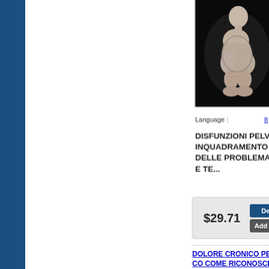[Figure (photo): Black and white artistic photo of a person curled up in a fetal position, knees drawn to chest, against a dark background]
Language :
It
DISFUNZIONI PELVICHE: INQUADRAMENTO DELLE PROBLEMATICHE E TE...
$29.71
Details
Add to ca...
DOLORE CRONICO PELVICO COME RICONOSCERE I SEGNALI CHE IL NOSTRO